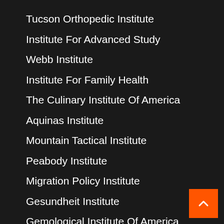Tucson Orthopedic Institute
Institute For Advanced Study
Webb Institute
Institute For Family Health
The Culinary Institute Of America
Aquinas Institute
Mountain Tactical Institute
Peabody Institute
Migration Policy Institute
Gesundheit Institute
Gemological Institute Of America
Rose Hulman Institute Of Technology
Real Estate Institute
Templin Institute
Allen Institute
Leadership Institute
Osher Lifelong Learning Institute